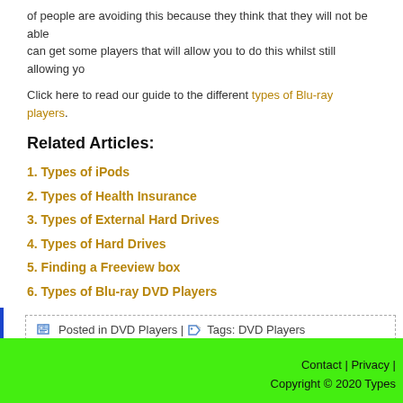of people are avoiding this because they think that they will not be able can get some players that will allow you to do this whilst still allowing you
Click here to read our guide to the different types of Blu-ray players.
Related Articles:
1. Types of iPods
2. Types of Health Insurance
3. Types of External Hard Drives
4. Types of Hard Drives
5. Finding a Freeview box
6. Types of Blu-ray DVD Players
Posted in DVD Players | Tags: DVD Players
Contact | Privacy | Copyright © 2020 Types